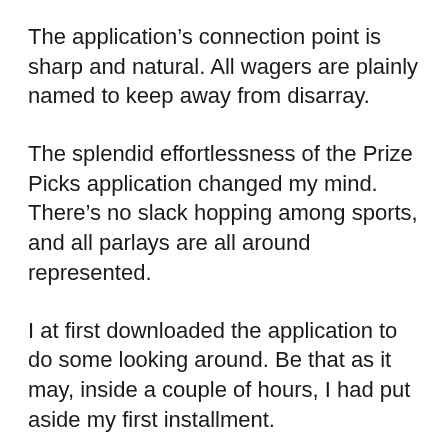The application’s connection point is sharp and natural. All wagers are plainly named to keep away from disarray.
The splendid effortlessness of the Prize Picks application changed my mind. There’s no slack hopping among sports, and all parlays are all around represented.
I at first downloaded the application to do some looking around. Be that as it may, inside a couple of hours, I had put aside my first installment.
I’m satisfied with the determination and administration up until this point.